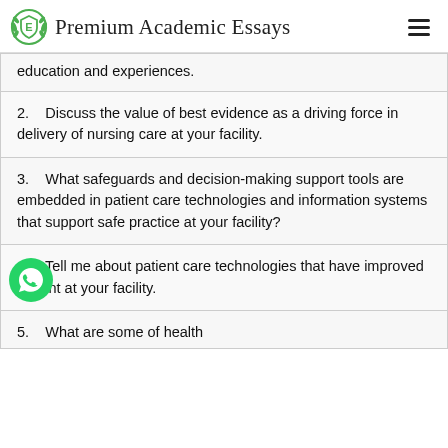Premium Academic Essays
education and experiences.
2.    Discuss the value of best evidence as a driving force in delivery of nursing care at your facility.
3.    What safeguards and decision-making support tools are embedded in patient care technologies and information systems that support safe practice at your facility?
4.    Tell me about patient care technologies that have improved patient at your facility.
5.    What are some of health...